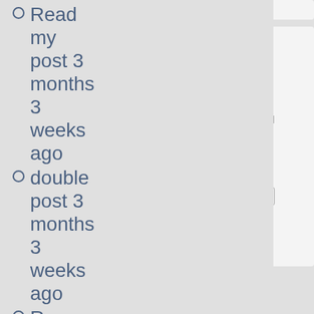Read my post 3 months 3 weeks ago
double post 3 months 3 weeks ago
Re: Teaching in the ROK
more
How w your summ
Grea
Pret Good
So-s
Terribl
Vote
Older polls Results